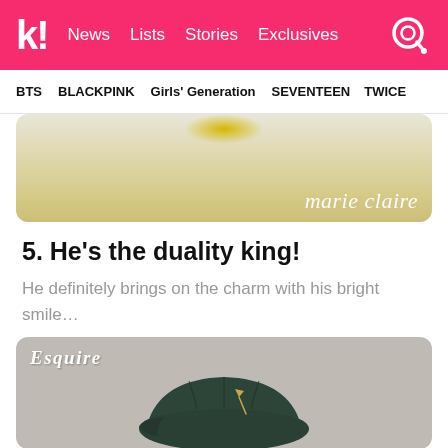k! News  Lists  Stories  Exclusives
BTS  BLACKPINK  Girls' Generation  SEVENTEEN  TWICE
[Figure (photo): Partial magazine photo with marie claire watermark/logo on cream and gold background]
5. He's the duality king!
He definitely brings on the charm with his bright smile…
[Figure (photo): Esquire magazine photo showing a dark green leather cap with a pin, on beige/grey background]